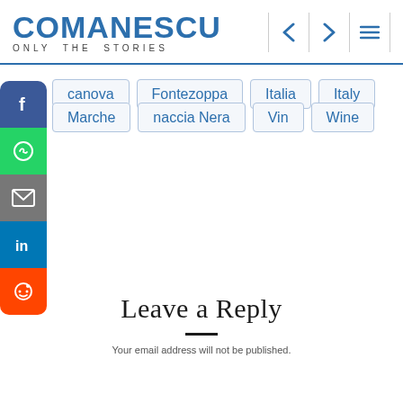COMANESCU — ONLY THE STORIES
canova
Fontezoppa
Italia
Italy
Marche
naccia Nera
Vin
Wine
Leave a Reply